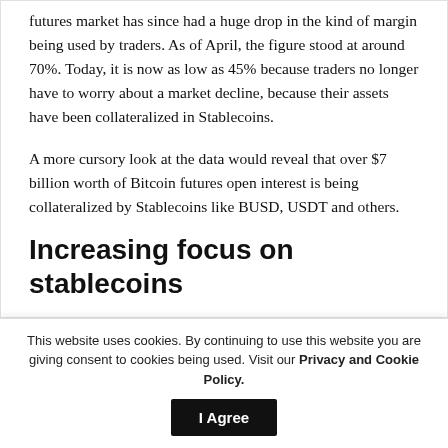futures market has since had a huge drop in the kind of margin being used by traders. As of April, the figure stood at around 70%. Today, it is now as low as 45% because traders no longer have to worry about a market decline, because their assets have been collateralized in Stablecoins.
A more cursory look at the data would reveal that over $7 billion worth of Bitcoin futures open interest is being collateralized by Stablecoins like BUSD, USDT and others.
Increasing focus on stablecoins
This website uses cookies. By continuing to use this website you are giving consent to cookies being used. Visit our Privacy and Cookie Policy.